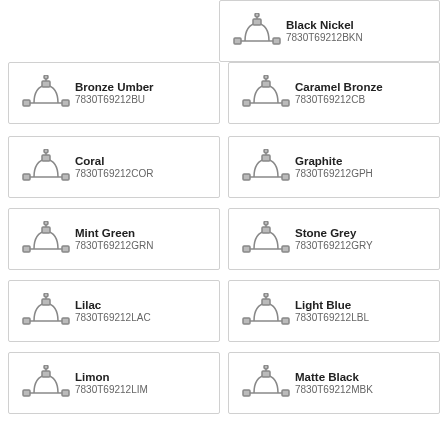[Figure (other): Faucet product card: Black Nickel, 7830T69212BKN]
[Figure (other): Faucet product card: Bronze Umber, 7830T69212BU]
[Figure (other): Faucet product card: Caramel Bronze, 7830T69212CB]
[Figure (other): Faucet product card: Coral, 7830T69212COR]
[Figure (other): Faucet product card: Graphite, 7830T69212GPH]
[Figure (other): Faucet product card: Mint Green, 7830T69212GRN]
[Figure (other): Faucet product card: Stone Grey, 7830T69212GRY]
[Figure (other): Faucet product card: Lilac, 7830T69212LAC]
[Figure (other): Faucet product card: Light Blue, 7830T69212LBL]
[Figure (other): Faucet product card: Limon, 7830T69212LIM]
[Figure (other): Faucet product card: Matte Black, 7830T69212MBK]
[Figure (other): Faucet product card: Oil-Rubbed Bronze, 7830T69212ORB]
[Figure (other): Faucet product card: Polished Brass, 7830T69212PB]
[Figure (other): Faucet product card: Polished Chrome (partial)]
[Figure (other): Faucet product card: Polished Copper (partial)]